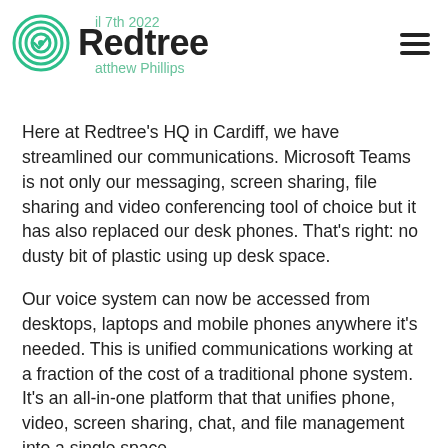Redtree | April 7th 2022 | Matthew Phillips
Here at Redtree's HQ in Cardiff, we have streamlined our communications. Microsoft Teams is not only our messaging, screen sharing, file sharing and video conferencing tool of choice but it has also replaced our desk phones. That's right: no dusty bit of plastic using up desk space.
Our voice system can now be accessed from desktops, laptops and mobile phones anywhere it's needed. This is unified communications working at a fraction of the cost of a traditional phone system. It's an all-in-one platform that that unifies phone, video, screen sharing, chat, and file management into a single space.
Microsoft teams is a cloud based platform, so it's